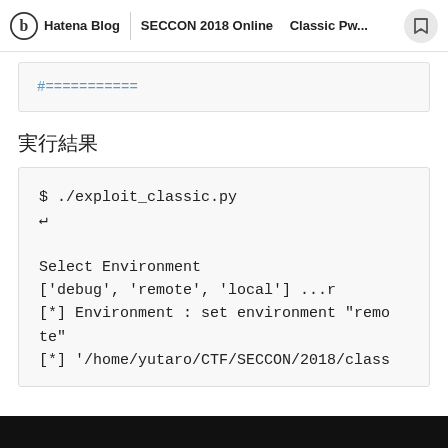Hatena Blog | SECCON 2018 Online 　Classic Pw...
#===========
実行結果
$ ./exploit_classic.py
↵
Select Environment
['debug', 'remote', 'local'] ...r
[*] Environment : set environment "remote"
[*] '/home/yutaro/CTF/SECCON/2018/class